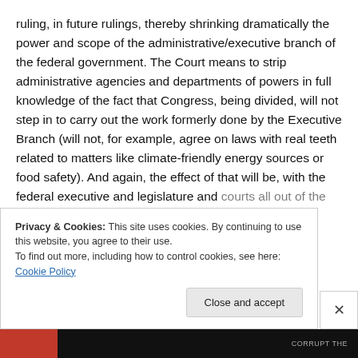ruling, in future rulings, thereby shrinking dramatically the power and scope of the administrative/executive branch of the federal government. The Court means to strip administrative agencies and departments of powers in full knowledge of the fact that Congress, being divided, will not step in to carry out the work formerly done by the Executive Branch (will not, for example, agree on laws with real teeth related to matters like climate-friendly energy sources or food safety). And again, the effect of that will be, with the federal executive and legislature and courts all out of the picture, to turn all this power back to
Privacy & Cookies: This site uses cookies. By continuing to use this website, you agree to their use.
To find out more, including how to control cookies, see here: Cookie Policy
Close and accept